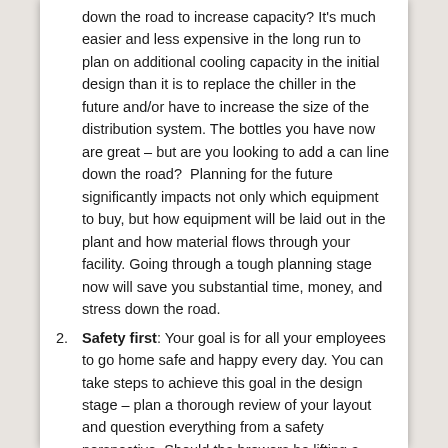down the road to increase capacity? It's much easier and less expensive in the long run to plan on additional cooling capacity in the initial design than it is to replace the chiller in the future and/or have to increase the size of the distribution system. The bottles you have now are great – but are you looking to add a can line down the road?  Planning for the future significantly impacts not only which equipment to buy, but how equipment will be laid out in the plant and how material flows through your facility. Going through a tough planning stage now will save you substantial time, money, and stress down the road.
Safety first: Your goal is for all your employees to go home safe and happy every day. You can take steps to achieve this goal in the design stage – plan a thorough review of your layout and question everything from a safety perspective. Should the brewers be lifting a heavy bag of grain that high? Is there any chance your platforms and walking surfaces are going to have standing water on them creating a slip hazard? There are a million decisions that need to be reviewed from a safety perspective – take the time